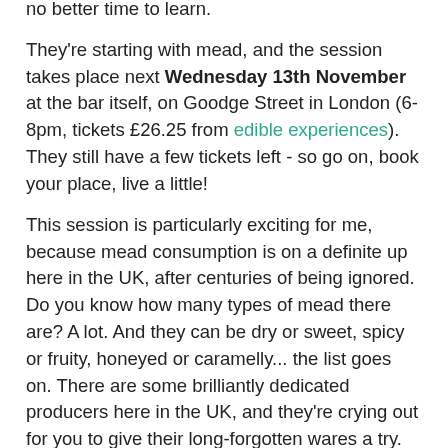no better time to learn.
They're starting with mead, and the session takes place next Wednesday 13th November at the bar itself, on Goodge Street in London (6-8pm, tickets £26.25 from edible experiences). They still have a few tickets left - so go on, book your place, live a little!
This session is particularly exciting for me, because mead consumption is on a definite up here in the UK, after centuries of being ignored. Do you know how many types of mead there are? A lot. And they can be dry or sweet, spicy or fruity, honeyed or caramelly... the list goes on. There are some brilliantly dedicated producers here in the UK, and they're crying out for you to give their long-forgotten wares a try. So, if you can't make it to this Spirited Sermon (although you really should), maybe you can buy a bottle of mead and rustle up this mead cocktail they've kindly provided us the recipe for (and book the next session, on sherries and spiced wines, which is in December).
The Mead Feast recipe (serves one)